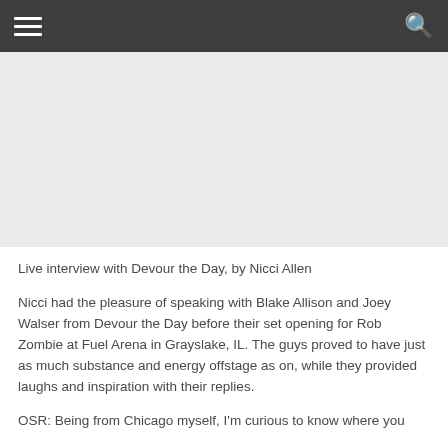≡  🔍
[Figure (other): Advertisement or image placeholder area]
Live interview with Devour the Day, by Nicci Allen
Nicci had the pleasure of speaking with Blake Allison and Joey Walser from Devour the Day before their set opening for Rob Zombie at Fuel Arena in Grayslake, IL. The guys proved to have just as much substance and energy offstage as on, while they provided laughs and inspiration with their replies.
OSR: Being from Chicago myself, I'm curious to know where you